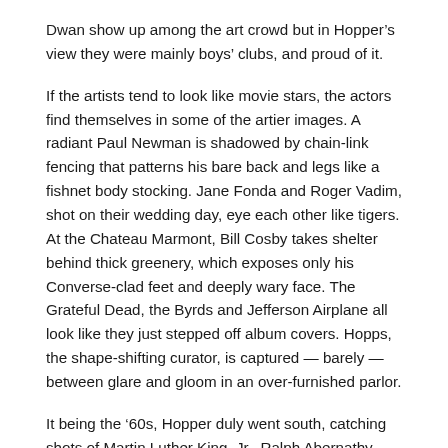Dwan show up among the art crowd but in Hopper’s view they were mainly boys’ clubs, and proud of it.
If the artists tend to look like movie stars, the actors find themselves in some of the artier images. A radiant Paul Newman is shadowed by chain-link fencing that patterns his bare back and legs like a fishnet body stocking. Jane Fonda and Roger Vadim, shot on their wedding day, eye each other like tigers. At the Chateau Marmont, Bill Cosby takes shelter behind thick greenery, which exposes only his Converse-clad feet and deeply wary face. The Grateful Dead, the Byrds and Jefferson Airplane all look like they just stepped off album covers. Hopps, the shape-shifting curator, is captured — barely — between glare and gloom in an over-furnished parlor.
It being the ’60s, Hopper duly went south, catching shots of Martin Luther King, Jr., Ralph Abernathy and some protestors in Selma. But the photographer is no activist. (Not long ago Hopper became a committed Republican, donating heavily to the party during the 2004 campaign before finding himself on Obama’s side in 2008.) There were dashes, in this show, of urban grit, seen in New York